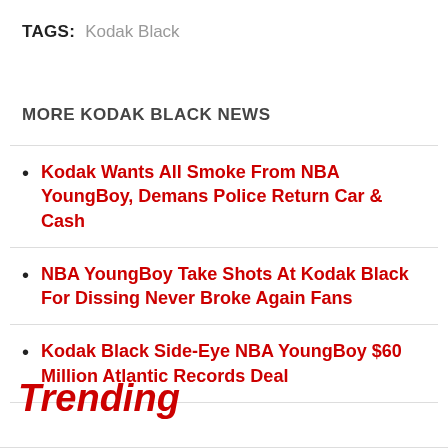TAGS: Kodak Black
MORE KODAK BLACK NEWS
Kodak Wants All Smoke From NBA YoungBoy, Demans Police Return Car & Cash
NBA YoungBoy Take Shots At Kodak Black For Dissing Never Broke Again Fans
Kodak Black Side-Eye NBA YoungBoy $60 Million Atlantic Records Deal
Trending